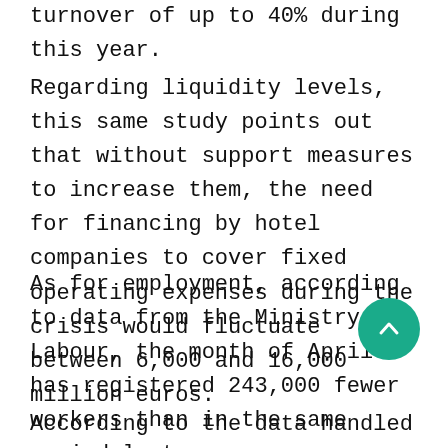turnover of up to 40% during this year.
Regarding liquidity levels, this same study points out that without support measures to increase them, the need for financing by hotel companies to cover fixed operating expenses during the crisis would fluctuate between 6,000 and 16,000 million euros.
As for employment, according to data from the Ministry of Labour, the month of April has registered 243,000 fewer workers than in the same period last year.
According to the data handled by the